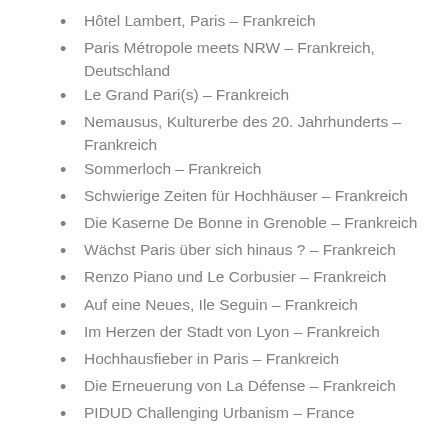Hôtel Lambert, Paris – Frankreich
Paris Métropole meets NRW – Frankreich, Deutschland
Le Grand Pari(s) – Frankreich
Nemausus, Kulturerbe des 20. Jahrhunderts – Frankreich
Sommerloch – Frankreich
Schwierige Zeiten für Hochhäuser – Frankreich
Die Kaserne De Bonne in Grenoble – Frankreich
Wächst Paris über sich hinaus ? – Frankreich
Renzo Piano und Le Corbusier – Frankreich
Auf eine Neues, Ile Seguin – Frankreich
Im Herzen der Stadt von Lyon – Frankreich
Hochhausfieber in Paris – Frankreich
Die Erneuerung von La Défense – Frankreich
PIDUD Challenging Urbanism – France